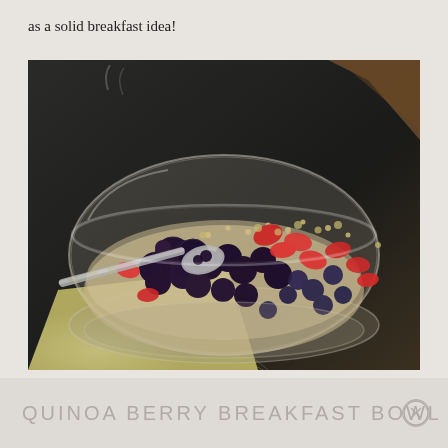as a solid breakfast idea!
[Figure (photo): A glass bowl filled with quinoa berry breakfast bowl — blackberries, strawberries, blueberries, and quinoa grains, with a silver spoon, sitting on a yellow cloth napkin on a dark surface.]
QUINOA BERRY BREAKFAST BOWL